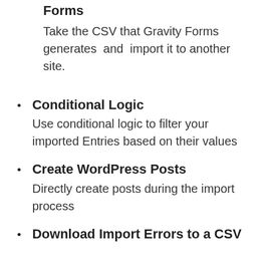Import files exported from Gravity Forms
Take the CSV that Gravity Forms generates and import it to another site.
Conditional Logic
Use conditional logic to filter your imported Entries based on their values
Create WordPress Posts
Directly create posts during the import process
Download Import Errors to a CSV